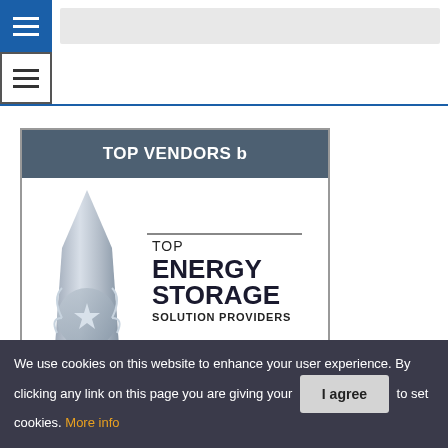Navigation bar with hamburger menu and search bar
Secondary navigation bar with hamburger menu icon
[Figure (illustration): Award card with 'TOP VENDORS b' header in dark grey, featuring a crystal trophy illustration on the left and text reading TOP ENERGY STORAGE SOLUTION PROVIDERS on the right with a horizontal divider line]
We use cookies on this website to enhance your user experience. By clicking any link on this page you are giving your consent to set cookies. More info